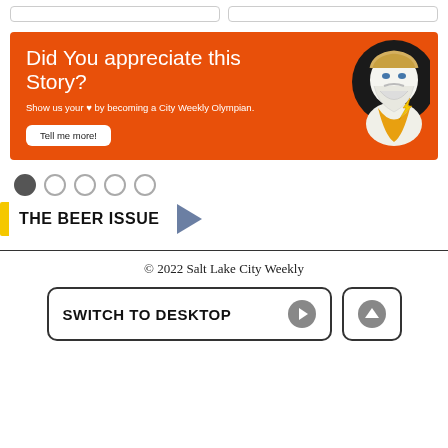[Figure (other): Orange promotional banner: 'Did You appreciate this Story? Show us your heart by becoming a City Weekly Olympian. Tell me more! button. Zeus-like mascot illustration on right.]
[Figure (other): Navigation dots row: one filled dark dot followed by four empty circle dots]
THE BEER ISSUE
© 2022 Salt Lake City Weekly
SWITCH TO DESKTOP